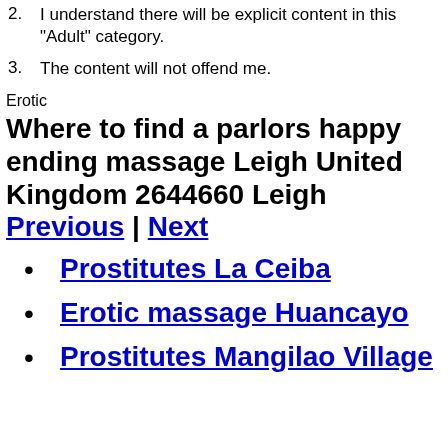2. I understand there will be explicit content in this "Adult" category.
3. The content will not offend me.
Erotic
Where to find a parlors happy ending massage Leigh United Kingdom 2644660 Leigh Previous | Next
Prostitutes La Ceiba
Erotic massage Huancayo
Prostitutes Mangilao Village